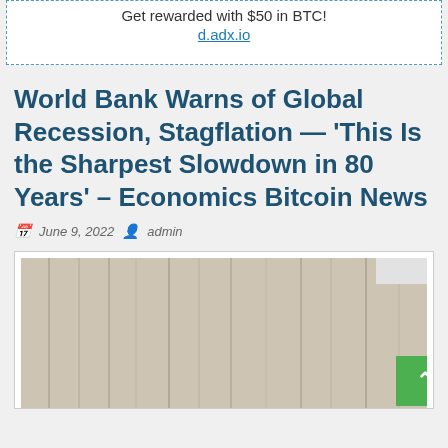Get rewarded with $50 in BTC!
d.adx.io
World Bank Warns of Global Recession, Stagflation — 'This Is the Sharpest Slowdown in 80 Years' – Economics Bitcoin News
June 9, 2022   admin
[Figure (photo): Wood panel background image, article thumbnail]